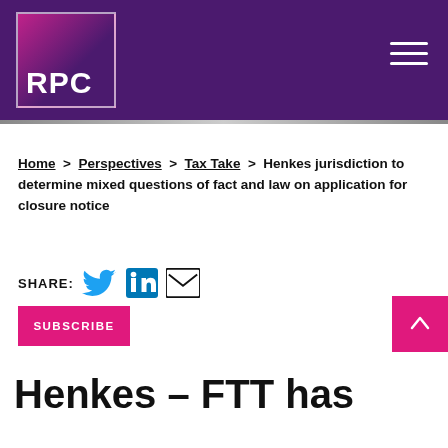[Figure (logo): RPC law firm logo — white 'RPC' text on purple/pink gradient square background with white border, set within a purple header navigation bar]
Home > Perspectives > Tax Take > Henkes jurisdiction to determine mixed questions of fact and law on application for closure notice
SHARE: [Twitter icon] [LinkedIn icon] [Email icon]
SUBSCRIBE
Henkes – FTT has